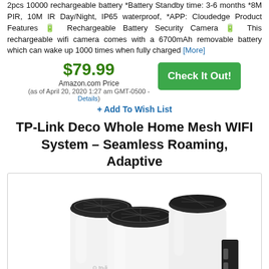2pcs 10000 rechargeable battery *Battery Standby time: 3-6 months *8M PIR, 10M IR Day/Night, IP65 waterproof, *APP: Cloudedge Product Features 🔋 Rechargeable Battery Security Camera 🔋 This rechargeable wifi camera comes with a 6700mAh removable battery which can wake up 1000 times when fully charged [More]
$79.99 Amazon.com Price (as of April 20, 2020 1:27 am GMT-0500 - Details)
+ Add To Wish List
TP-Link Deco Whole Home Mesh WIFI System – Seamless Roaming, Adaptive
[Figure (photo): Three white cylindrical TP-Link Deco mesh WiFi router units arranged together, showing the TP-Link logo on two of them, with dark mesh grill tops.]